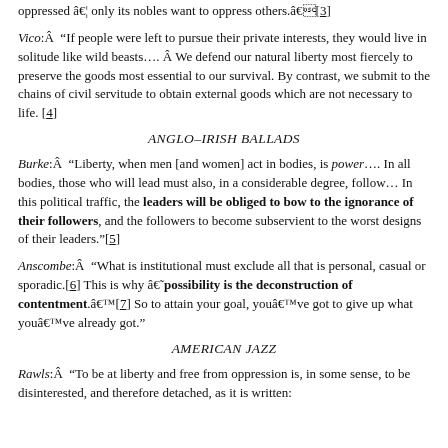oppressed â€¦ only its nobles want to oppress others.â€[3]
Vico: Â â€œIf people were left to pursue their private interests, they would live in solitude like wild beastsâ€¦. Â We defend our natural liberty most fiercely to preserve the goods most essential to our survival. By contrast, we submit to the chains of civil servitude to obtain external goods which are not necessary to life. [4]
ANGLO–IRISH BALLADS
Burke: Â â€œLiberty, when men [and women] act in bodies, is powerâ€¦. In all bodies, those who will lead must also, in a considerable degree, followâ€¦ In this political traffic, the leaders will be obliged to bow to the ignorance of their followers, and the followers to become subservient to the worst designs of their leaders.â€[5]
Anscombe: Â â€œWhat is institutional must exclude all that is personal, casual or sporadic.[6] This is why â€˜possibility is the deconstruction of contentment.â€™[7] So to attain your goal, youâ€™ve got to give up what youâ€™ve already got.â€
AMERICAN JAZZ
Rawls: Â â€œTo be at liberty and free from oppression is, in some sense, to be disinterested, and therefore detached, as it is written: